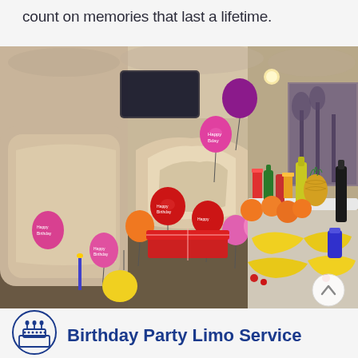count on memories that last a lifetime.
[Figure (photo): Interior of a party limousine decorated with colorful balloons (red, pink, orange, yellow, purple), fruit platters (bananas, oranges, pineapple), and bottles of champagne and drinks on illuminated countertops. Beige leather seating visible.]
Birthday Party Limo Service